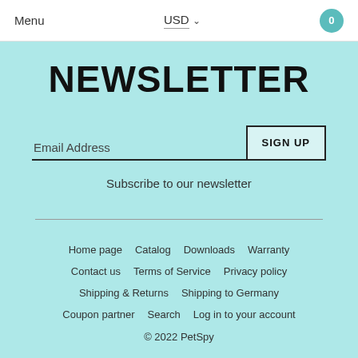Menu   USD ˅   0
NEWSLETTER
Email Address   SIGN UP
Subscribe to our newsletter
Home page   Catalog   Downloads   Warranty   Contact us   Terms of Service   Privacy policy   Shipping & Returns   Shipping to Germany   Coupon partner   Search   Log in to your account
© 2022 PetSpy